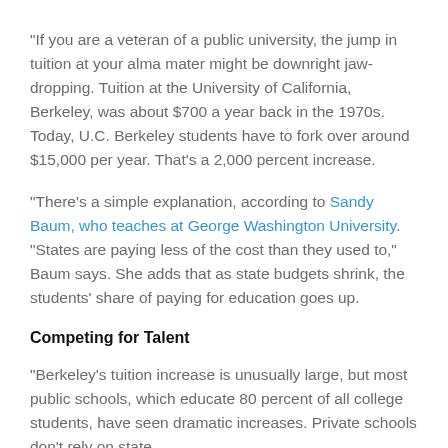"If you are a veteran of a public university, the jump in tuition at your alma mater might be downright jaw-dropping. Tuition at the University of California, Berkeley, was about $700 a year back in the 1970s. Today, U.C. Berkeley students have to fork over around $15,000 per year. That's a 2,000 percent increase.
"There's a simple explanation, according to Sandy Baum, who teaches at George Washington University. "States are paying less of the cost than they used to," Baum says. She adds that as state budgets shrink, the students' share of paying for education goes up.
Competing for Talent
"Berkeley's tuition increase is unusually large, but most public schools, which educate 80 percent of all college students, have seen dramatic increases. Private schools don't rely on state